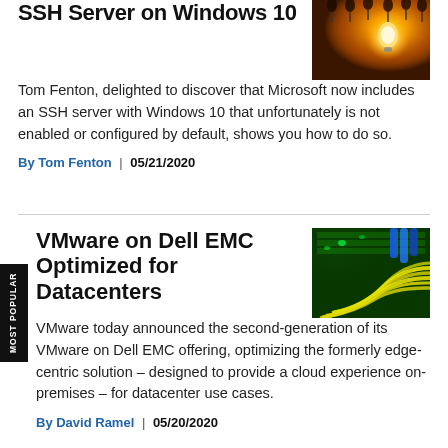SSH Server on Windows 10
Tom Fenton, delighted to discover that Microsoft now includes an SSH server with Windows 10 that unfortunately is not enabled or configured by default, shows you how to do so.
By Tom Fenton | 05/21/2020
[Figure (photo): Glowing light bulbs hanging from ceiling with warm orange background]
VMware on Dell EMC Optimized for Datacenters
VMware today announced the second-generation of its VMware on Dell EMC offering, optimizing the formerly edge-centric solution – designed to provide a cloud experience on-premises – for datacenter use cases.
By David Ramel | 05/20/2020
[Figure (photo): Green fiber optic cables in a data center networking panel]